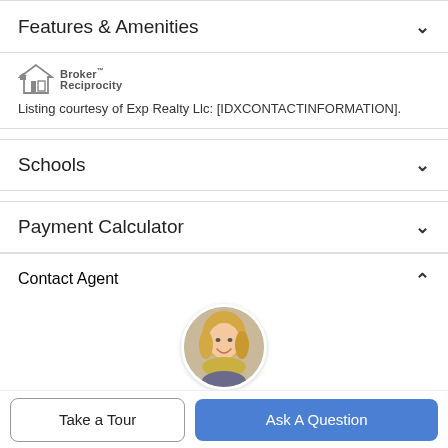Features & Amenities
[Figure (logo): Broker Reciprocity logo with house icon and text]
Listing courtesy of Exp Realty Llc: [IDXCONTACTINFORMATION].
Schools
Payment Calculator
Contact Agent
[Figure (photo): Circular photo of a female real estate agent with blonde hair, smiling]
Take a Tour
Ask A Question